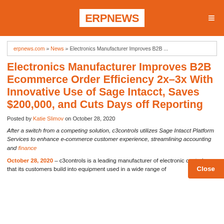ERP NEWS
erpnews.com » News » Electronics Manufacturer Improves B2B ...
Electronics Manufacturer Improves B2B Ecommerce Order Efficiency 2x–3x With Innovative Use of Sage Intacct, Saves $200,000, and Cuts Days off Reporting
Posted by Katie Slimov on October 28, 2020
After a switch from a competing solution, c3controls utilizes Sage Intacct Platform Services to enhance e-commerce customer experience, streamlining accounting and finance
October 28, 2020 – c3controls is a leading manufacturer of electronic controls that its customers build into equipment used in a wide range of